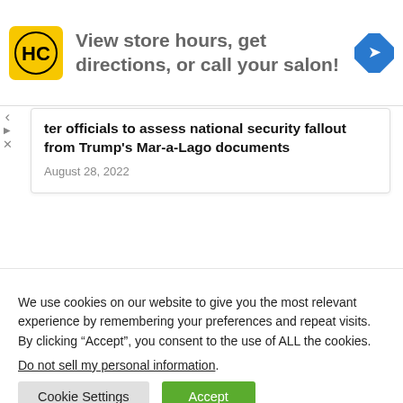[Figure (logo): HC salon logo in yellow rounded square with black HC letters, followed by ad text 'View store hours, get directions, or call your salon!' and a blue navigation diamond icon on the right]
ter officials to assess national security fallout from Trump's Mar-a-Lago documents
August 28, 2022
We use cookies on our website to give you the most relevant experience by remembering your preferences and repeat visits. By clicking “Accept”, you consent to the use of ALL the cookies.
Do not sell my personal information.
Cookie Settings  Accept